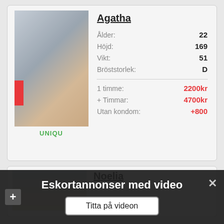[Figure (photo): Photo of blonde woman in costume with green crown accessory, posing in interior setting. Red bar on left side. Label 'UNIQU' below in green.]
Agatha
Ålder: 22
Höjd: 169
Vikt: 51
Bröststorlek: D
1 timme: 2200kr
+ Timmar: 4700kr
Utan kondom: +800
[Figure (photo): Partial photo of bright interior room, cropped at card bottom.]
Noelia
Eskortannonser med video
Titta på videon